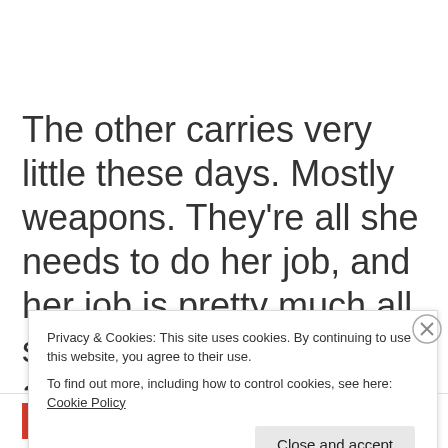The other carries very little these days. Mostly weapons. They're all she needs to do her job, and her job is pretty much all she is now. One pocket always has cigarettes
Privacy & Cookies: This site uses cookies. By continuing to use this website, you agree to their use.
To find out more, including how to control cookies, see here: Cookie Policy
Close and accept